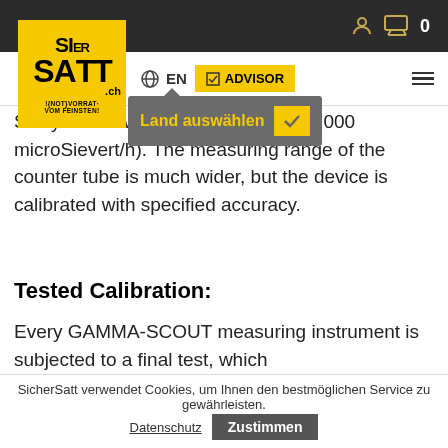SicherSatt navigation bar with logo, EN language selector, ADVISOR button, hamburger menu
[Figure (logo): SicherSatt yellow logo with black text SI-ER / SA-TT .ch and tagline !{NOT}VORRAT VOM FEINSTEN!]
S... y over a wide range (0.1 up to 1,000 microSievert/h). The measuring range of the counter tube is much wider, but the device is calibrated with specified accuracy.
[Figure (screenshot): Tooltip popup showing 'Land auswählen' with a yellow checkmark button on grey background]
Tested Calibration:
Every GAMMA-SCOUT measuring instrument is subjected to a final test, which
SicherSatt verwendet Cookies, um Ihnen den bestmöglichen Service zu gewährleisten. Datenschutz  Zustimmen